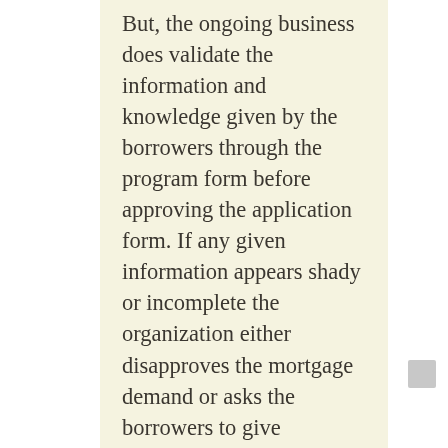But, the ongoing business does validate the information and knowledge given by the borrowers through the program form before approving the application form. If any given information appears shady or incomplete the organization either disapproves the mortgage demand or asks the borrowers to give documents contrary to the exact same. The details which can be gotten because of the